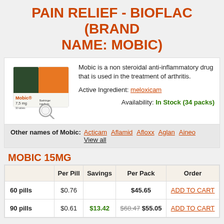PAIN RELIEF - BIOFLAC (BRAND NAME: MOBIC)
[Figure (photo): Mobic 7.5mg pill package box by Boehringer Ingelheim with a magnifying glass]
Mobic is a non steroidal anti-inflammatory drug that is used in the treatment of arthritis.
Active Ingredient: meloxicam
Availability: In Stock (34 packs)
Other names of Mobic: Acticam Aflamid Afloxx Aglan Aineo View all
MOBIC 15MG
|  | Per Pill | Savings | Per Pack | Order |
| --- | --- | --- | --- | --- |
| 60 pills | $0.76 |  | $45.65 | ADD TO CART |
| 90 pills | $0.61 | $13.42 | $68.47 $55.05 | ADD TO CART |